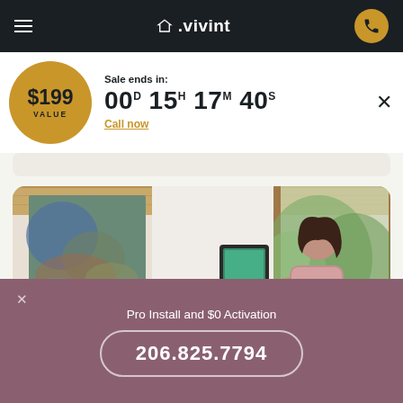vivint
Sale ends in: 00D 15H 17M 40S
$199 VALUE
Call now
[Figure (photo): Woman interacting with a Vivint smart home security panel mounted on a white wall, with a colorful abstract painting visible on the left and a window with trees in the background]
Pro Install and $0 Activation
206.825.7794